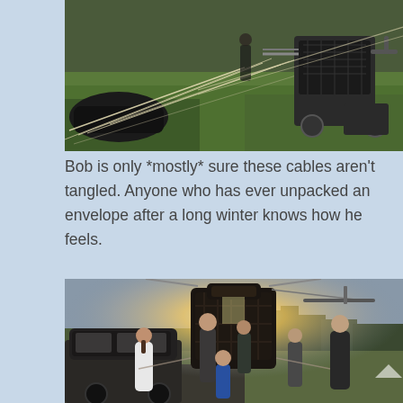[Figure (photo): Photo of hot air balloon equipment laid out on grass — ropes, cables, and burner apparatus visible from ground level, green field in background]
Bob is only *mostly* sure these cables aren't tangled. Anyone who has ever unpacked an envelope after a long winter knows how he feels.
[Figure (photo): Photo of a group of people standing around a hot air balloon basket at sunset/golden hour, including a child in blue, a woman in white hoodie, several men — trees and a dark SUV visible in background]